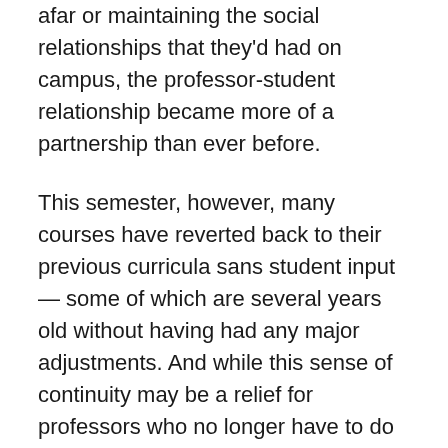afar or maintaining the social relationships that they'd had on campus, the professor-student relationship became more of a partnership than ever before.
This semester, however, many courses have reverted back to their previous curricula sans student input — some of which are several years old without having had any major adjustments. And while this sense of continuity may be a relief for professors who no longer have to do all their work over Zoom, it brings academic life at the college back to its old, constant breakneck pace. Certainly the students — and we imagine many professors as well — have found this to bring more stress than comfort.